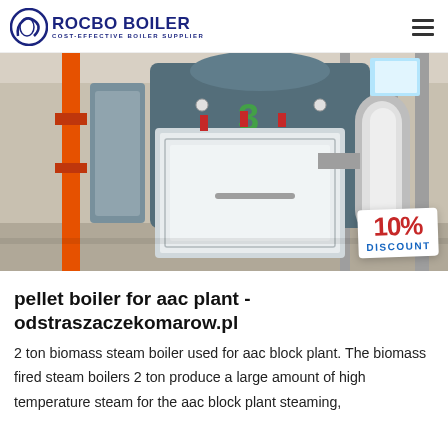ROCBO BOILER — COST-EFFECTIVE BOILER SUPPLIER
[Figure (photo): Industrial boiler room showing a large stainless steel biomass steam boiler (numbered 3) with orange and teal piping, gauges, and a 10% DISCOUNT promotional badge in the lower right corner.]
pellet boiler for aac plant - odstraszaczekomarow.pl
2 ton biomass steam boiler used for aac block plant. The biomass fired steam boilers 2 ton produce a large amount of high temperature steam for the aac block plant steaming,